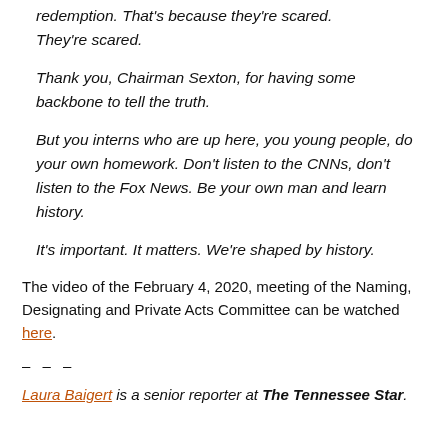redemption. That's because they're scared. They're scared.
Thank you, Chairman Sexton, for having some backbone to tell the truth.
But you interns who are up here, you young people, do your own homework. Don't listen to the CNNs, don't listen to the Fox News. Be your own man and learn history.
It's important. It matters. We're shaped by history.
The video of the February 4, 2020, meeting of the Naming, Designating and Private Acts Committee can be watched here.
– – –
Laura Baigert is a senior reporter at The Tennessee Star.